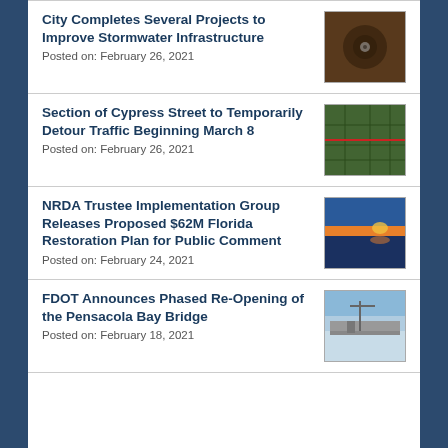City Completes Several Projects to Improve Stormwater Infrastructure
Posted on: February 26, 2021
[Figure (photo): Close-up photo of a stormwater drain or pipe opening]
Section of Cypress Street to Temporarily Detour Traffic Beginning March 8
Posted on: February 26, 2021
[Figure (photo): Aerial map view of Cypress Street area]
NRDA Trustee Implementation Group Releases Proposed $62M Florida Restoration Plan for Public Comment
Posted on: February 24, 2021
[Figure (photo): Sunset over water reflecting orange and blue sky]
FDOT Announces Phased Re-Opening of the Pensacola Bay Bridge
Posted on: February 18, 2021
[Figure (photo): Aerial view of Pensacola Bay Bridge construction/repair work]